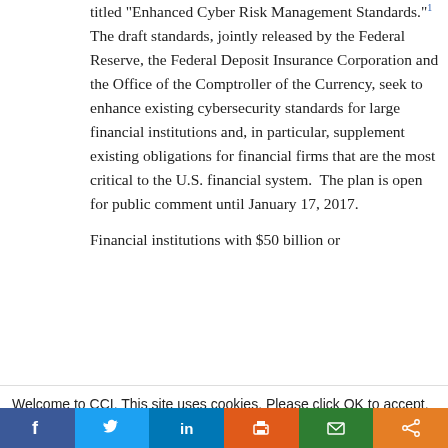titled "Enhanced Cyber Risk Management Standards."1 The draft standards, jointly released by the Federal Reserve, the Federal Deposit Insurance Corporation and the Office of the Comptroller of the Currency, seek to enhance existing cybersecurity standards for large financial institutions and, in particular, supplement existing obligations for financial firms that are the most critical to the U.S. financial system.  The plan is open for public comment until January 17, 2017.

Financial institutions with $50 billion or
Welcome to CCI. This site uses cookies. Please click OK to accept. Privacy Policy
Cookie settings  ACCEPT